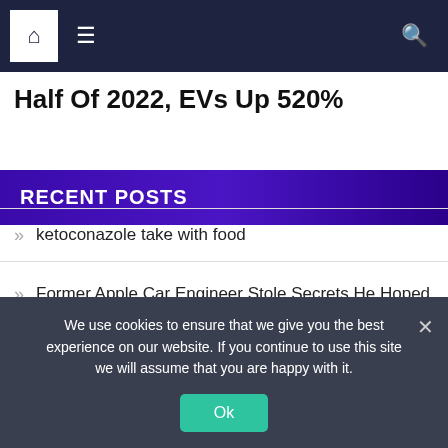Navigation bar with home icon, menu icon, and search icon
Half Of 2022, EVs Up 520%
RECENT POSTS
ketoconazole take with food
Former Apple Car Engineer Stole Secrets He Hoped To Give To Xpeng
We use cookies to ensure that we give you the best experience on our website. If you continue to use this site we will assume that you are happy with it.